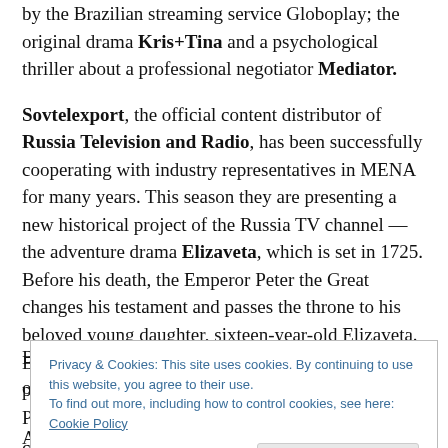by the Brazilian streaming service Globoplay; the original drama Kris+Tina and a psychological thriller about a professional negotiator Mediator.
Sovtelexport, the official content distributor of Russia Television and Radio, has been successfully cooperating with industry representatives in MENA for many years. This season they are presenting a new historical project of the Russia TV channel — the adventure drama Elizaveta, which is set in 1725. Before his death, the Emperor Peter the Great changes his testament and passes the throne to his beloved young daughter, sixteen-year-old Elizaveta. But the young princess is not ready to sacrifice personal happiness for the crown.
Privacy & Cookies: This site uses cookies. By continuing to use this website, you agree to their use.
To find out more, including how to control cookies, see here: Cookie Policy
According to the company, "the series has everything to appeal...